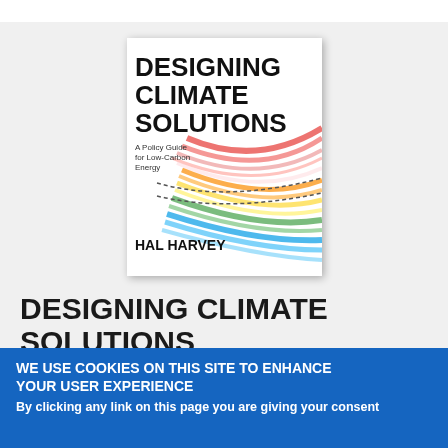[Figure (illustration): Book cover of 'Designing Climate Solutions: A Policy Guide for Low-Carbon Energy' by Hal Harvey. The cover features bold black text on white with colorful ribbon-like energy flow graphics in red, orange, yellow, green, and blue.]
DESIGNING CLIMATE SOLUTIONS
WE USE COOKIES ON THIS SITE TO ENHANCE YOUR USER EXPERIENCE
By clicking any link on this page you are giving your consent